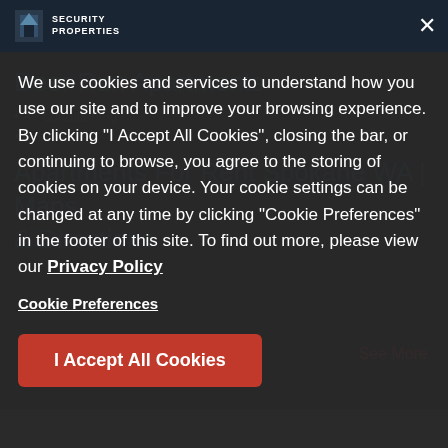Security Properties
Air conditioning
Dishwasher
Apartments For Rent Spokane WA | Maps & Directions
We use cookies and services to understand how you use our site and to improve your browsing experience. By clicking "I Accept All Cookies", closing the bar, or continuing to browse, you agree to the storing of cookies on your device. Your cookie settings can be changed at any time by clicking "Cookie Preferences" in the footer of this site. To find out more, please view our Privacy Policy
Cookie Preferences
I Accept All Cookies
rent in Spokane, WA? You won't find a better location than that of our apartment community here at Deer Run. When you rent at Deer Run, you're near
See More